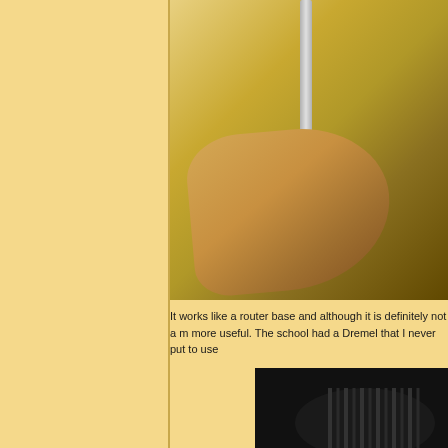[Figure (photo): Close-up photograph of a wooden ball attached to a metal rod with a metal clamp/bracket, mounted on a wooden base that resembles a router base. The wooden base has a triangular/teardrop shape made of light-colored wood. Metal hardware including nuts and bolts are visible.]
It works like a router base and although it is definitely not a m... more useful. The school had a Dremel that I never put to use...
[Figure (photo): Partial photograph showing the bottom portion of what appears to be a dark-colored Dremel tool or similar rotary tool, showing the ribbed/ridged grip section in black.]